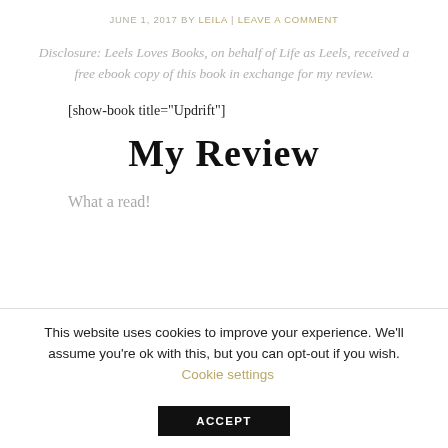JUNE 1, 2017 BY LEILA | LEAVE A COMMENT
Disclosure: Leels Loves Books, on behalf of Life as Leels, received a free ebook copy of this book in exchange for my review.
[show-book title="Updrift"]
My Review
What a read!
This website uses cookies to improve your experience. We'll assume you're ok with this, but you can opt-out if you wish.  Cookie settings  ACCEPT